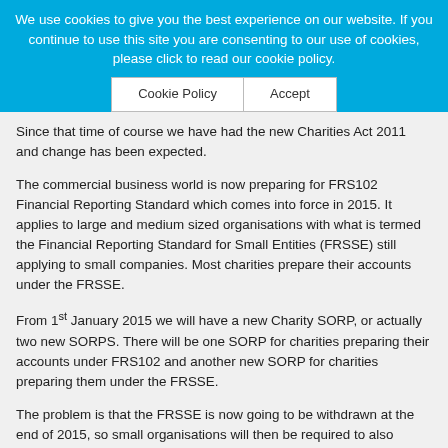We use cookies to give you the best experience on our website. If you continue to use this site you are consenting to our use of cookies, please click to read our cookie policy.
Cookie Policy | Accept
Since that time of course we have had the new Charities Act 2011 and change has been expected.
The commercial business world is now preparing for FRS102 Financial Reporting Standard which comes into force in 2015. It applies to large and medium sized organisations with what is termed the Financial Reporting Standard for Small Entities (FRSSE) still applying to small companies. Most charities prepare their accounts under the FRSSE.
From 1st January 2015 we will have a new Charity SORP, or actually two new SORPS. There will be one SORP for charities preparing their accounts under FRS102 and another new SORP for charities preparing them under the FRSSE.
The problem is that the FRSSE is now going to be withdrawn at the end of 2015, so small organisations will then be required to also prepare their accounts under FRS102, except with some disclosure exemptions.